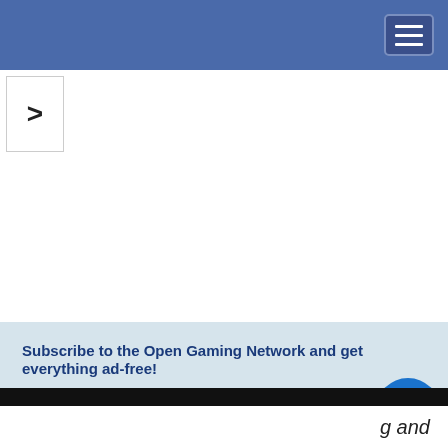[Figure (screenshot): Blue navigation bar at top of webpage]
[Figure (screenshot): Right-pointing chevron back navigation button]
Subscribe to the Open Gaming Network and get everything ad-free!
This website uses cookies to provide functionality, but which are not used to track your activity. By continuing to use this site, you agree to the use of these cookies.

However, in addition to this, you may opt into your activity being tracked in order to help us improve our service.

For more information, please click here
OK
No, thank you
g and